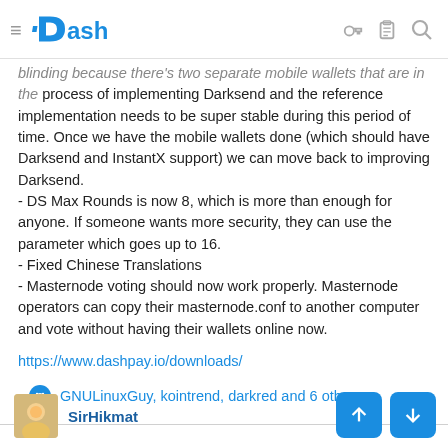Dash
blinding because there's two separate mobile wallets that are in the process of implementing Darksend and the reference implementation needs to be super stable during this period of time. Once we have the mobile wallets done (which should have Darksend and InstantX support) we can move back to improving Darksend.
- DS Max Rounds is now 8, which is more than enough for anyone. If someone wants more security, they can use the parameter which goes up to 16.
- Fixed Chinese Translations
- Masternode voting should now work properly. Masternode operators can copy their masternode.conf to another computer and vote without having their wallets online now.
https://www.dashpay.io/downloads/
GNULinuxGuy, kointrend, darkred and 6 others
SirHikmat